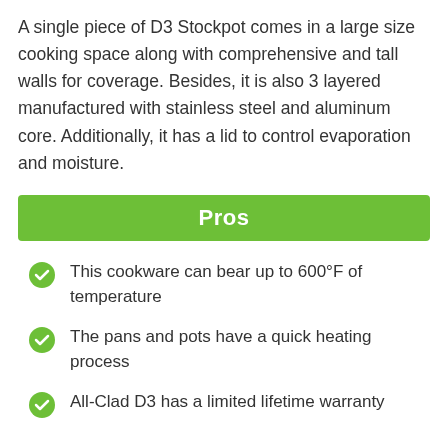A single piece of D3 Stockpot comes in a large size cooking space along with comprehensive and tall walls for coverage. Besides, it is also 3 layered manufactured with stainless steel and aluminum core. Additionally, it has a lid to control evaporation and moisture.
Pros
This cookware can bear up to 600°F of temperature
The pans and pots have a quick heating process
All-Clad D3 has a limited lifetime warranty